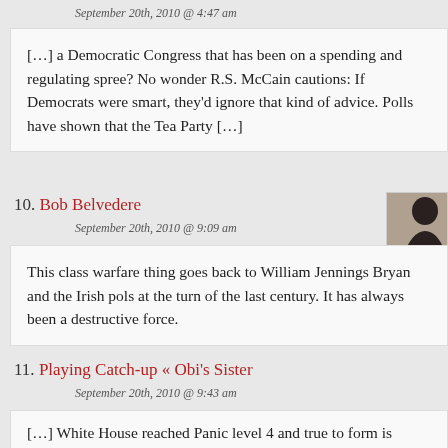September 20th, 2010 @ 4:47 am
[…] a Democratic Congress that has been on a spending and regulating spree?  No wonder R.S. McCain cautions: If Democrats were smart, they'd ignore that kind of advice. Polls have shown that the Tea Party […]
10. Bob Belvedere
September 20th, 2010 @ 9:09 am
This class warfare thing goes back to William Jennings Bryan and the Irish pols at the turn of the last century. It has always been a destructive force.
11. Playing Catch-up « Obi's Sister
September 20th, 2010 @ 9:43 am
[…] White House reached Panic level 4 and true to form is falling back on their magic formula – class warfare. Perhaps a visual is […]